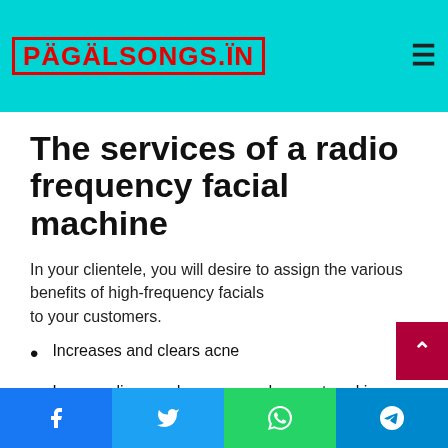PÄGÄLSONGS.ÏN
The services of a radio frequency facial machine
In your clientele, you will desire to assign the various benefits of high-frequency facials to your customers.
Increases and clears acne
Lessens lines and creases and promotes skin wrinkles
Decreases pores and blackheads
Facebook | Twitter | WhatsApp | Telegram